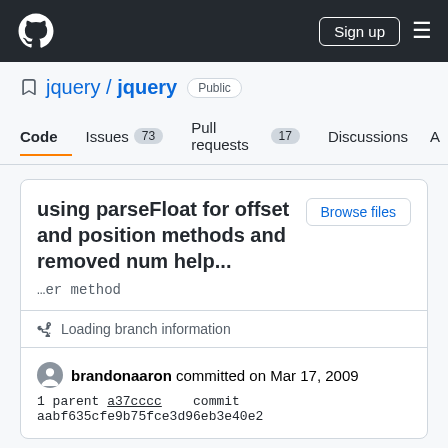GitHub navigation bar with logo, Sign up button, and menu icon
jquery / jquery  Public
Code  Issues 73  Pull requests 17  Discussions  A
using parseFloat for offset and position methods and removed num help...
…er method
Loading branch information
brandonaaron committed on Mar 17, 2009
1 parent a37cccc    commit aabf635cfe9b75fce3d96eb3e40e2
Showing 2 changed files with 11 additions and 16 deletions.